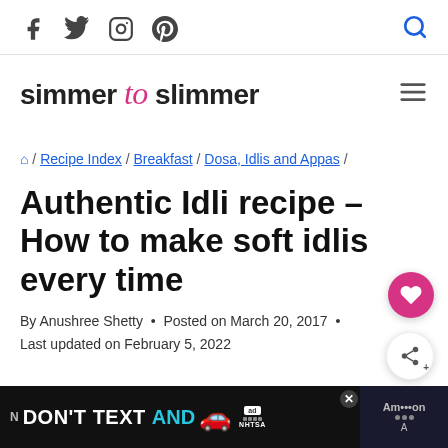Social icons: Facebook, Twitter, Instagram, Pinterest. Search icon.
simmer to slimmer
🏠 / Recipe Index / Breakfast / Dosa, Idlis and Appas /
Authentic Idli recipe – How to make soft idlis every time
By Anushree Shetty • Posted on March 20, 2017 • Last updated on February 5, 2022
[Figure (screenshot): Advertisement banner: DON'T TEXT AND with car emoji, ad badge, NHTSA logo, and Amazon logo]